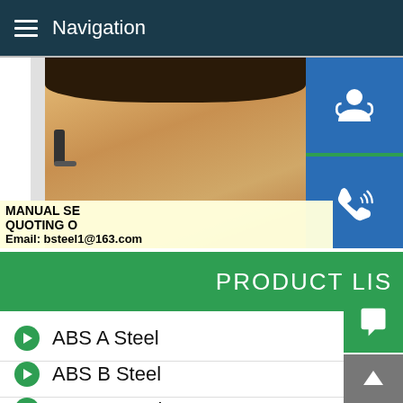Navigation
[Figure (screenshot): Green Send Enquiry Now button on gray background with partial woman photo and blue icon buttons (customer service, phone, Skype)]
PRODUCT LIST
MANUAL SE... QUOTING O... Email: bsteel1@163.com
ABS A Steel
ABS B Steel
ABS D Steel
ABS E Steel